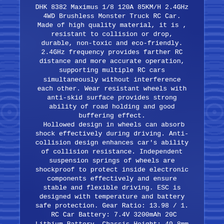DHK 8382 Maximus 1/8 120A 85KM/H 2.4GHz 4WD Brushless Monster Truck RC Car. Made of high quality material, it is , resistant to collision or drop, durable, non-toxic and eco-friendly. 2.4GHz frequency provides farther RC distance and more accurate operation, supporting multiple RC cars simultaneously without interference each other. Wear resistant wheels with anti-skid surface provides strong ability of road holding and good buffering effect.
Hollowed design in wheels can absorb shock effectively during driving. Anti-collision design enhances car's ability of collision resistance. Independent suspension springs of wheels are shockproof to protect inside electronic components effectively and ensure stable and flexible driving. ESC is designed with temperature and battery safe protection. Gear Ratio: 13.98 / 1.
RC Car Battery: 7.4V 3200mAh 20C Lithium Battery. Chassis Height: 49.8mm